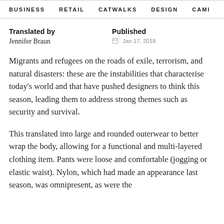BUSINESS   RETAIL   CATWALKS   DESIGN   CAMI  >
Translated by
Jennifer Braun
Published
Jan 17, 2018
Migrants and refugees on the roads of exile, terrorism, and natural disasters: these are the instabilities that characterise today's world and that have pushed designers to think this season, leading them to address strong themes such as security and survival.
This translated into large and rounded outerwear to better wrap the body, allowing for a functional and multi-layered clothing item. Pants were loose and comfortable (jogging or elastic waist). Nylon, which had made an appearance last season, was omnipresent, as were the